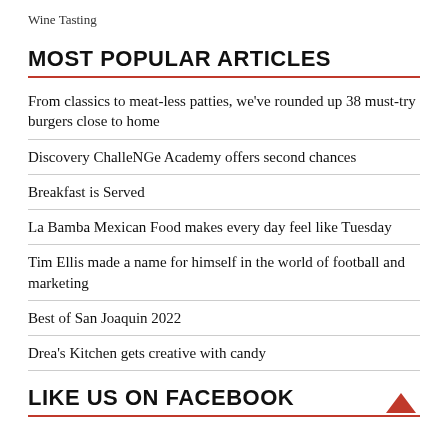Wine Tasting
MOST POPULAR ARTICLES
From classics to meat-less patties, we've rounded up 38 must-try burgers close to home
Discovery ChalleNGe Academy offers second chances
Breakfast is Served
La Bamba Mexican Food makes every day feel like Tuesday
Tim Ellis made a name for himself in the world of football and marketing
Best of San Joaquin 2022
Drea's Kitchen gets creative with candy
LIKE US ON FACEBOOK